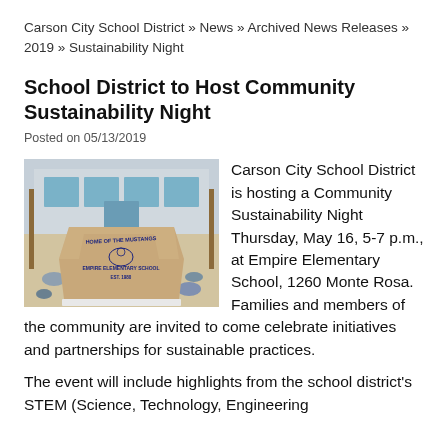Carson City School District » News » Archived News Releases » 2019 » Sustainability Night
School District to Host Community Sustainability Night
Posted on 05/13/2019
[Figure (photo): Photo of Empire Elementary School stone sign reading 'Home of the Mustangs Empire Elementary School Est. 1980' with school building visible in background]
Carson City School District is hosting a Community Sustainability Night Thursday, May 16, 5-7 p.m., at Empire Elementary School, 1260 Monte Rosa. Families and members of the community are invited to come celebrate initiatives and partnerships for sustainable practices.
The event will include highlights from the school district's STEM (Science, Technology, Engineering